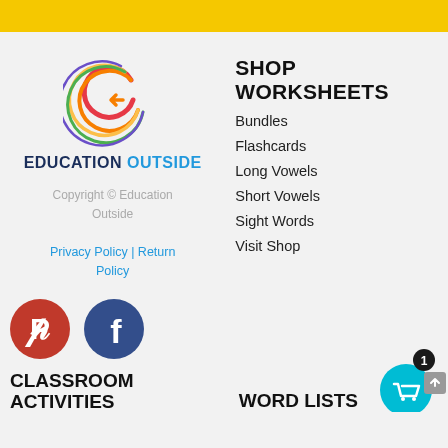[Figure (logo): Education Outside logo: colorful spiral C shape above text EDUCATION OUTSIDE]
Copyright © Education Outside
Privacy Policy | Return Policy
SHOP WORKSHEETS
Bundles
Flashcards
Long Vowels
Short Vowels
Sight Words
Visit Shop
[Figure (logo): Pinterest red circle icon with white P]
[Figure (logo): Facebook dark blue circle icon with white f]
CLASSROOM ACTIVITIES
WORD LISTS
[Figure (other): Shopping cart icon in cyan circle with badge showing 1, and grey scroll-to-top arrow button]